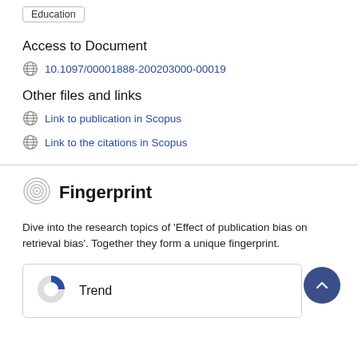Education
Access to Document
10.1097/00001888-200203000-00019
Other files and links
Link to publication in Scopus
Link to the citations in Scopus
Fingerprint
Dive into the research topics of 'Effect of publication bias on retrieval bias'. Together they form a unique fingerprint.
Trend